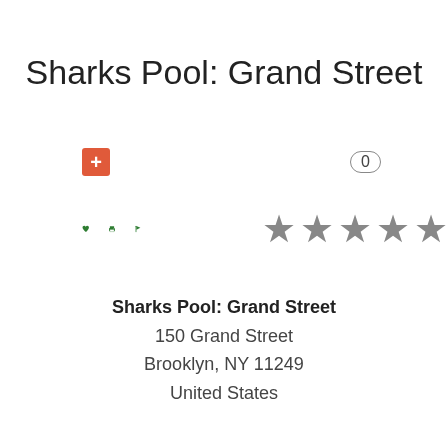Sharks Pool: Grand Street
[Figure (infographic): Red plus button icon and badge showing 0]
[Figure (infographic): Green heart, printer, and flag icons on the left; five grey stars on the right]
Sharks Pool: Grand Street
150 Grand Street
Brooklyn, NY 11249
United States